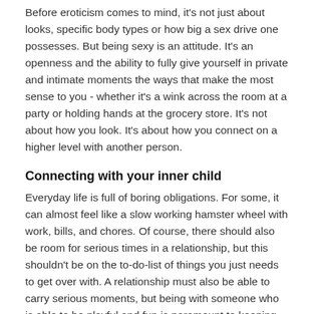Before eroticism comes to mind, it's not just about looks, specific body types or how big a sex drive one possesses. But being sexy is an attitude. It's an openness and the ability to fully give yourself in private and intimate moments the ways that make the most sense to you - whether it's a wink across the room at a party or holding hands at the grocery store. It's not about how you look. It's about how you connect on a higher level with another person.
Connecting with your inner child
Everyday life is full of boring obligations. For some, it can almost feel like a slow working hamster wheel with work, bills, and chores. Of course, there should also be room for serious times in a relationship, but this shouldn't be on the to-do-list of things you just needs to get over with. A relationship must also be able to carry serious moments, but being with someone who is able to be playful and fun is paramount to keeping the balance.